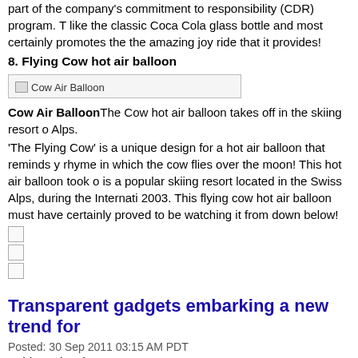part of the company's commitment to responsibility (CDR) program. This like the classic Coca Cola glass bottle and most certainly promotes the the amazing joy ride that it provides!
8. Flying Cow hot air balloon
[Figure (photo): Cow Air Balloon image placeholder]
Cow Air BalloonThe Cow hot air balloon takes off in the skiing resort Alps.
'The Flying Cow' is a unique design for a hot air balloon that reminds you of a rhyme in which the cow flies over the moon! This hot air balloon took off in what is a popular skiing resort located in the Swiss Alps, during the International Festival 2003. This flying cow hot air balloon must have certainly proved to be watching it from down below!
[Figure (other): Three small checkbox/image placeholders]
Transparent gadgets embarking a new trend for
Posted: 30 Sep 2011 03:15 AM PDT
Babita Sajnani:
[Figure (photo): Transparent gadgets image placeholder]
Transparent gadgetsThe main factor to make them special is the com through them.
The Trend